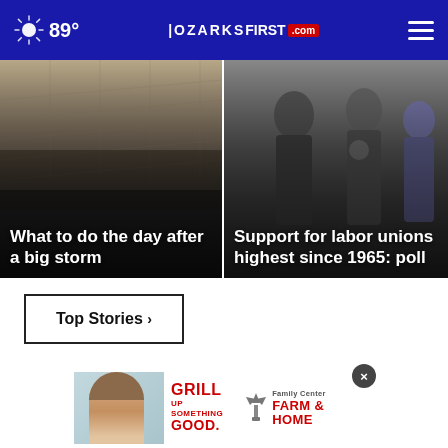89° OZARKSFIRST.com
[Figure (photo): Rooftop/storm damage photo with overlay text: What to do the day after a big storm]
[Figure (photo): People in dark shirts (police/workers) with overlay text: Support for labor unions highest since 1965: poll]
Top Stories ›
[Figure (photo): Advertisement: GRILL UP SOMETHING GOOD. Family Center FARM & HOME - showing woman's face on teal background]